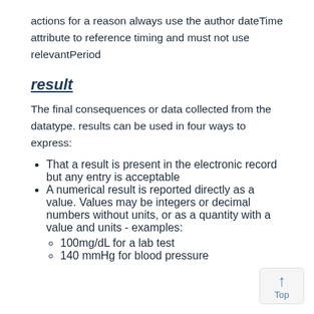actions for a reason always use the author dateTime attribute to reference timing and must not use relevantPeriod
result
The final consequences or data collected from the datatype. results can be used in four ways to express:
That a result is present in the electronic record but any entry is acceptable
A numerical result is reported directly as a value. Values may be integers or decimal numbers without units, or as a quantity with a value and units - examples:
100mg/dL for a lab test
140 mmHg for blood pressure